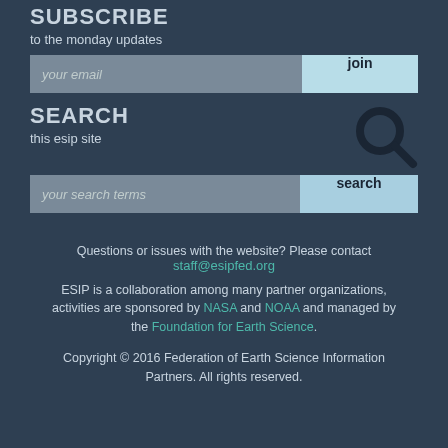SUBSCRIBE
to the monday updates
your email
join
SEARCH
this esip site
your search terms
search
Questions or issues with the website? Please contact staff@esipfed.org
ESIP is a collaboration among many partner organizations, activities are sponsored by NASA and NOAA and managed by the Foundation for Earth Science.
Copyright © 2016 Federation of Earth Science Information Partners. All rights reserved.